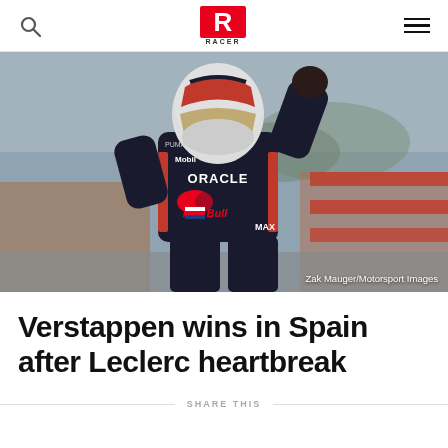RACER
[Figure (photo): Max Verstappen in Oracle Red Bull Racing race suit and helmet, fist raised in celebration after winning the Spanish Grand Prix. Photo credit: Zak Mauger/Motorsport Images]
Zak Mauger/Motorsport Images
Verstappen wins in Spain after Leclerc heartbreak
SHARE THIS